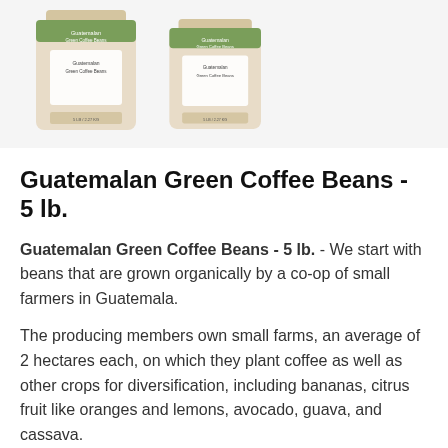[Figure (photo): Two bags of Guatemalan Green Coffee Beans 5 lb. product packaging shown side by side on a light background]
Guatemalan Green Coffee Beans - 5 lb.
Guatemalan Green Coffee Beans - 5 lb. - We start with beans that are grown organically by a co-op of small farmers in Guatemala.
The producing members own small farms, an average of 2 hectares each, on which they plant coffee as well as other crops for diversification, including bananas, citrus fruit like oranges and lemons, avocado, guava, and cassava.
The farmers are paid a fair price for their crop to help ensure their continued success.